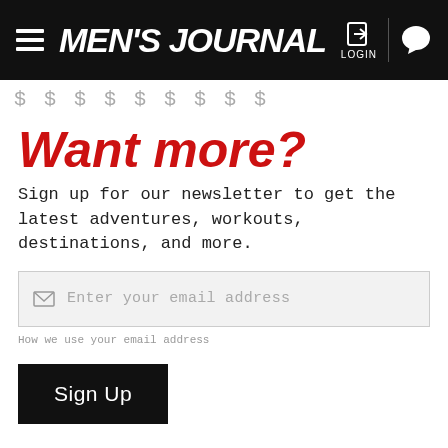MEN'S JOURNAL — LOGIN
Sign up for our newsletter to get the latest adventures, workouts, destinations, and more.
Want more?
Sign up for our newsletter to get the latest adventures, workouts, destinations, and more.
Enter your email address
How we use your email address
Sign Up